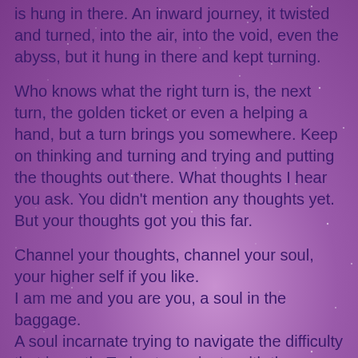is hung in there. An inward journey, it twisted and turned, into the air, into the void, even the abyss, but it hung in there and kept turning.
Who knows what the right turn is, the next turn, the golden ticket or even a helping a hand, but a turn brings you somewhere. Keep on thinking and turning and trying and putting the thoughts out there. What thoughts I hear you ask. You didn't mention any thoughts yet. But your thoughts got you this far.
Channel your thoughts, channel your soul, your higher self if you like.
I am me and you are you, a soul in the baggage.
A soul incarnate trying to navigate the difficulty that is earth. Trying to navigate with the difficulties that a life on this planet brings with it. The baggage you are carrying around.